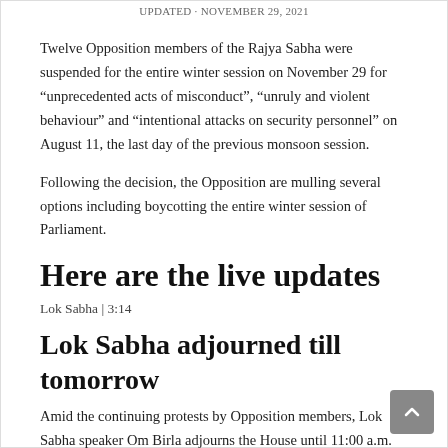UPDATED · NOVEMBER 29, 2021
Twelve Opposition members of the Rajya Sabha were suspended for the entire winter session on November 29 for "unprecedented acts of misconduct", "unruly and violent behaviour" and "intentional attacks on security personnel" on August 11, the last day of the previous monsoon session.
Following the decision, the Opposition are mulling several options including boycotting the entire winter session of Parliament.
Here are the live updates
Lok Sabha | 3:14
Lok Sabha adjourned till tomorrow
Amid the continuing protests by Opposition members, Lok Sabha speaker Om Birla adjourns the House until 11:00 a.m.